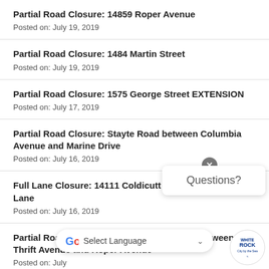Partial Road Closure: 14859 Roper Avenue
Posted on: July 19, 2019
Partial Road Closure: 1484 Martin Street
Posted on: July 19, 2019
Partial Road Closure: 1575 George Street EXTENSION
Posted on: July 17, 2019
Partial Road Closure: Stayte Road between Columbia Avenue and Marine Drive
Posted on: July 16, 2019
Full Lane Closure: 14111 Coldicutt Avenue in Coldicutt Lane
Posted on: July 16, 2019
Partial Road Closure: 1350 Johnston Road between Thrift Avenue and Roper Avenue
Posted on: July
[Figure (screenshot): Questions? popup widget with close button (x), White Rock City by the Sea logo, and Google Select Language dropdown bar at the bottom]